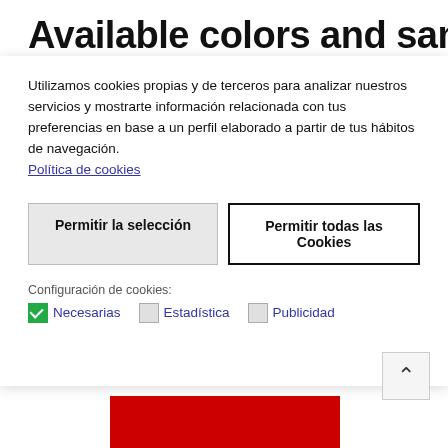Available colors and sample
Utilizamos cookies propias y de terceros para analizar nuestros servicios y mostrarte información relacionada con tus preferencias en base a un perfil elaborado a partir de tus hábitos de navegación.
Política de cookies
Permitir la selección
Permitir todas las Cookies
Configuración de cookies:
Necesarias  Estadística  Publicidad
[Figure (screenshot): Red color sample bar at the bottom of the page]